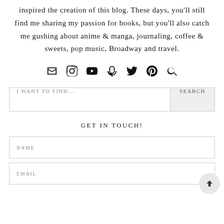inspired the creation of this blog. These days, you'll still find me sharing my passion for books, but you'll also catch me gushing about anime & manga, journaling, coffee & sweets, pop music, Broadway and travel.
[Figure (infographic): Row of 7 social media / navigation icons: email (envelope), Instagram, YouTube, podcast, Twitter (bird), Pinterest, search (magnifying glass)]
I WANT TO FIND...  SEARCH
GET IN TOUCH!
NAME
EMAIL